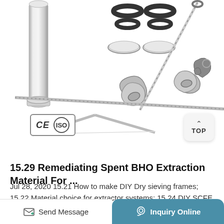[Figure (photo): Product photo showing stainless steel extraction equipment components: a cylindrical tube on the left, O-rings and gaskets/filter discs in the upper center, a long probe/rod, tri-clamp fittings and clamps in the center and right, and a bent rod/stand at the bottom. CE and ISO certification badges visible in lower left. A 'TOP' navigation button in lower right.]
15.29 Remediating Spent BHO Extraction Material For ...
Jul 28, 2020 15.21 How to make DIY Dry sieving frames; 15.22 Material choice for extractor systems; 15.24 DIY SCFE CO2; 15.25 Hot vapor
Send Message | Inquiry Online